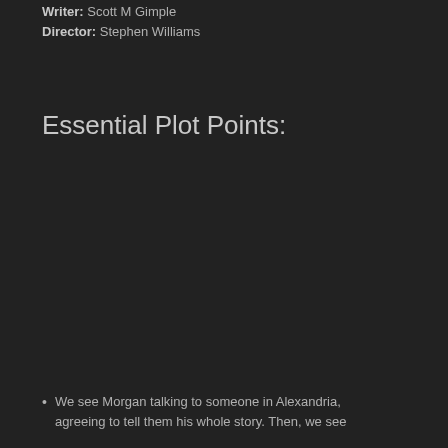Writer: Scott M Gimple
Director: Stephen Williams
Essential Plot Points:
We see Morgan talking to someone in Alexandria, agreeing to tell them his whole story. Then, we see